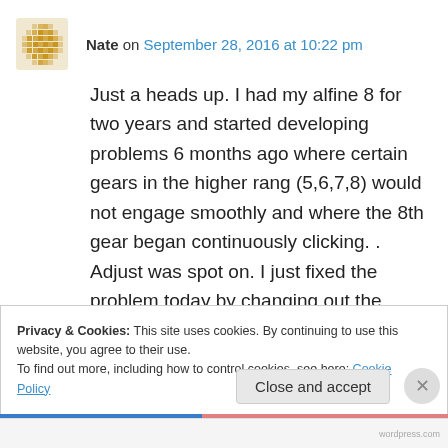Nate on September 28, 2016 at 10:22 pm
Just a heads up. I had my alfine 8 for two years and started developing problems 6 months ago where certain gears in the higher rang (5,6,7,8) would not engage smoothly and where the 8th gear began continuously clicking. . Adjust was spot on. I just fixed the problem today by changing out the cable and it works perfectly. I
Privacy & Cookies: This site uses cookies. By continuing to use this website, you agree to their use.
To find out more, including how to control cookies, see here: Cookie Policy